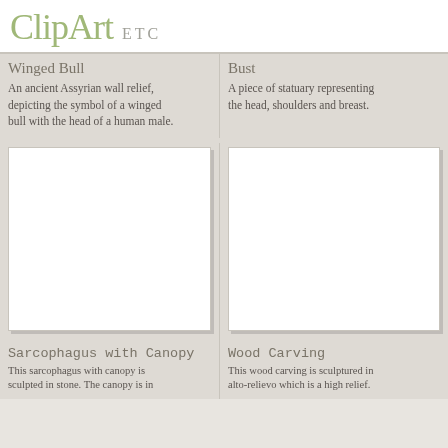ClipArt ETC
Winged Bull
An ancient Assyrian wall relief, depicting the symbol of a winged bull with the head of a human male.
Bust
A piece of statuary representing the head, shoulders and breast.
[Figure (illustration): Blank white image placeholder for Sarcophagus with Canopy clipart]
Sarcophagus with Canopy
This sarcophagus with canopy is sculpted in stone. The canopy is in
[Figure (illustration): Blank white image placeholder for Wood Carving clipart]
Wood Carving
This wood carving is sculptured in alto-relievo which is a high relief.